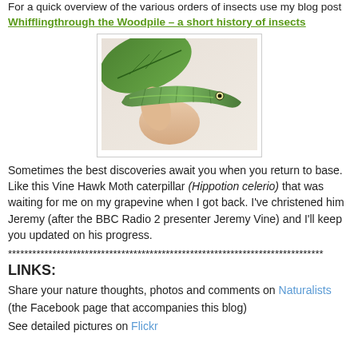For a quick overview of the various orders of insects use my blog post Whifflingthrough the Woodpile – a short history of insects
[Figure (photo): A hand holding a large green Vine Hawk Moth caterpillar (Hippotion celerio) against a leaf background]
Sometimes the best discoveries await you when you return to base. Like this Vine Hawk Moth caterpillar (Hippotion celerio) that was waiting for me on my grapevine when I got back. I've christened him Jeremy (after the BBC Radio 2 presenter Jeremy Vine) and I'll keep you updated on his progress.
******************************************************************************
LINKS:
Share your nature thoughts, photos and comments on Naturalists (the Facebook page that accompanies this blog)
See detailed pictures on Flickr